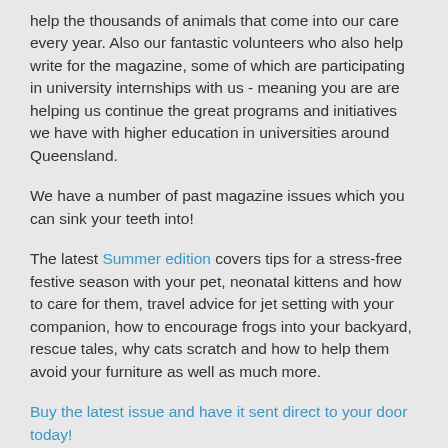help the thousands of animals that come into our care every year. Also our fantastic volunteers who also help write for the magazine, some of which are participating in university internships with us - meaning you are are helping us continue the great programs and initiatives we have with higher education in universities around Queensland.
We have a number of past magazine issues which you can sink your teeth into!
The latest Summer edition covers tips for a stress-free festive season with your pet, neonatal kittens and how to care for them, travel advice for jet setting with your companion, how to encourage frogs into your backyard, rescue tales, why cats scratch and how to help them avoid your furniture as well as much more.
Buy the latest issue and have it sent direct to your door today!
Did you know...